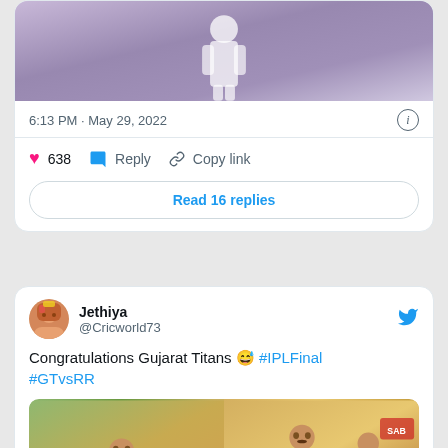[Figure (screenshot): Partial video thumbnail showing blurry figure in white clothing against purple background]
6:13 PM · May 29, 2022
638   Reply   Copy link
Read 16 replies
[Figure (screenshot): Twitter tweet by @Cricworld73 (Jethiya) congratulating Gujarat Titans with meme image showing RCB,DC,PBKS from last 15 years vs GT in their 1st season]
Jethiya @Cricworld73
Congratulations Gujarat Titans 😅 #IPLFinal #GTvsRR
[Figure (photo): Meme image split in two: left side shows man sitting with text 'RCB,DC,PBKS from last 15 years', right side shows man standing with trophy and text 'GT in their 1st season']